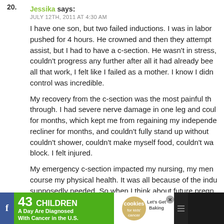20. Jessika says: JULY 12TH, 2011 AT 4:30 AM
I have one son, but two failed inductions. I was in labor pushed for 4 hours. He crowned and then they attempted to assist, but I had to have a c-section. He wasn't in stress, couldn't progress any further after all it had already been through all that work, I felt like I failed as a mother. I know I didn't, but loss of control was incredible.
My recovery from the c-section was the most painful thing I've been through. I had severe nerve damage in one leg and couldn't walk for months, which kept me from regaining my independence. Sat in a recliner for months, and couldn't fully stand up without assistance. I couldn't shower, couldn't make myself food, couldn't walk around the block. I felt injured.
My emergency c-section impacted my nursing, my mental health, and of course my physical health. It was all because of the induction I supposedly needed. So when I think about future pregnancies, I avoid doing that to myself when at all possible. I want nature
[Figure (infographic): Advertisement banner: '43 CHILDREN A Day Are Diagnosed With Cancer in the U.S.' with cookies for kids' cancer logo and 'Let's Get Baking' call to action]